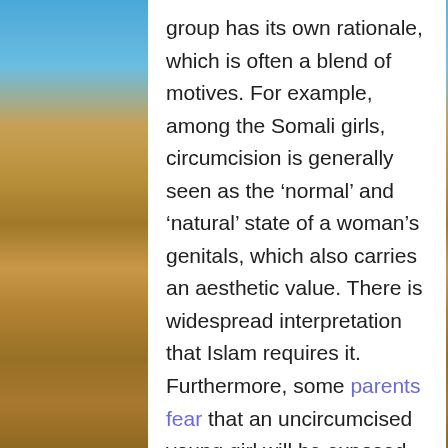[Figure (photo): Desert sand dunes with blue sky visible on the left and right sides of the image, flanking a central white text panel.]
group has its own rationale, which is often a blend of motives. For example, among the Somali girls, circumcision is generally seen as the ‘normal’ and ‘natural’ state of a woman’s genitals, which also carries an aesthetic value. There is widespread interpretation that Islam requires it. Furthermore, some parents fear that an uncircumcised young girl will be exposed to ostracism, considering that all her peers are circumcised, and that she will have problems finding a husband in the future [6].